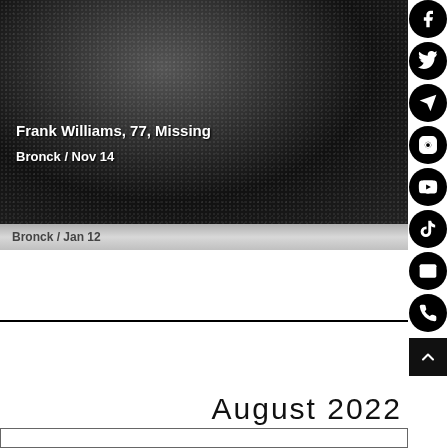[Figure (photo): Dark grainy photograph, appears to be a person or object in low light, black and white tones]
Frank Williams, 77, Missing
Bronck / Nov 14
Bronck / Jan 12
August 2022